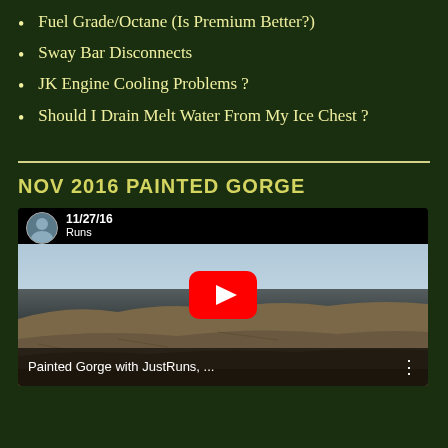Fuel Grade/Octane (Is Premium Better?)
Sway Bar Disconnects
JK Engine Cooling Problems ?
Should I Drain Melt Water From My Ice Chest ?
NOV 2016 PAINTED GORGE
[Figure (screenshot): YouTube video thumbnail showing Painted Gorge with JustRuns, dated 11/27/16, featuring an aerial desert landscape view with play button overlay]